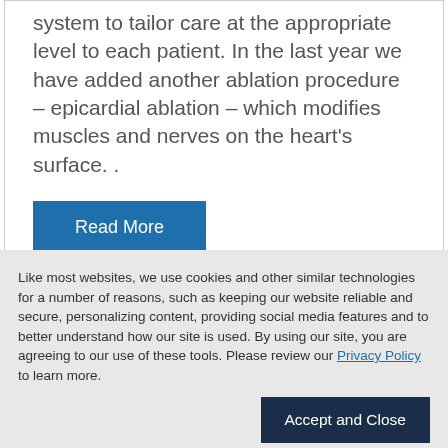system to tailor care at the appropriate level to each patient. In the last year we have added another ablation procedure – epicardial ablation – which modifies muscles and nerves on the heart's surface. .
Read More
Like most websites, we use cookies and other similar technologies for a number of reasons, such as keeping our website reliable and secure, personalizing content, providing social media features and to better understand how our site is used. By using our site, you are agreeing to our use of these tools. Please review our Privacy Policy to learn more.
Accept and Close